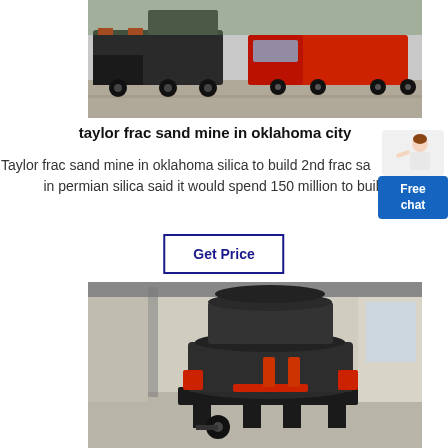[Figure (photo): Industrial trucks/vehicles on a road, including a red semi truck and specialized equipment]
taylor frac sand mine in oklahoma city
Taylor frac sand mine in oklahoma silica to build 2nd frac sand facility in permian silica said it would spend 150 million to build
[Figure (other): Free chat widget with person illustration and blue button]
[Figure (photo): Industrial cone crusher machinery in a warehouse/factory setting, dark gray and red colored equipment]